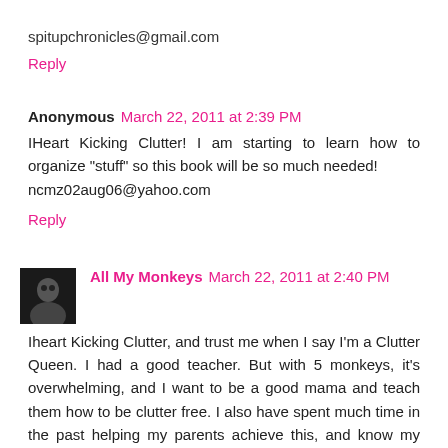spitupchronicles@gmail.com
Reply
Anonymous  March 22, 2011 at 2:39 PM
IHeart Kicking Clutter! I am starting to learn how to organize "stuff" so this book will be so much needed! ncmz02aug06@yahoo.com
Reply
All My Monkeys  March 22, 2011 at 2:40 PM
Iheart Kicking Clutter, and trust me when I say I'm a Clutter Queen. I had a good teacher. But with 5 monkeys, it's overwhelming, and I want to be a good mama and teach them how to be clutter free. I also have spent much time in the past helping my parents achieve this, and know my time's not up with that either. So what I learn here (and hopefully in the book) will be passed on to many people. This is for all my monkeys past, present and future.